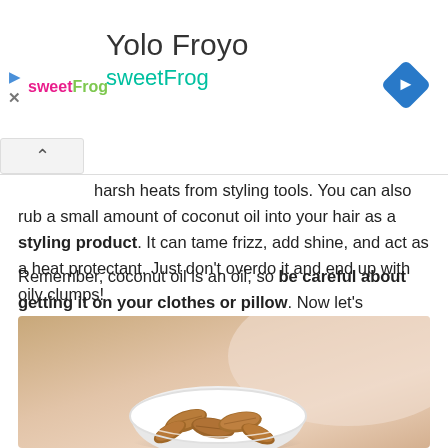[Figure (screenshot): Ad banner for Yolo Froyo / sweetFrog with logo, navigation diamond icon]
harsh heats from styling tools. You can also rub a small amount of coconut oil into your hair as a styling product. It can tame frizz, add shine, and act as a heat protectant. Just don't overdo it and end up with oily clumps!
Remember, coconut oil is an oil, so be careful about getting it on your clothes or pillow. Now let's consider the second, related use of coconut oil - as a way to treat and prevent damage.
[Figure (photo): Photo of almonds in a small white bowl on a wooden surface]